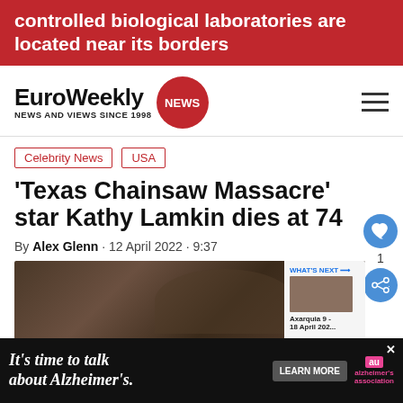controlled biological laboratories are located near its borders
[Figure (logo): EuroWeekly NEWS logo with red circle and tagline NEWS AND VIEWS SINCE 1998]
Celebrity News
USA
‘Texas Chainsaw Massacre’ star Kathy Lamkin dies at 74
By Alex Glenn · 12 April 2022 · 9:37
[Figure (photo): Photo of Kathy Lamkin, elderly woman with dark hair, in a room setting]
[Figure (infographic): WHAT'S NEXT arrow callout: Axarquia 9 - 18 April 2022]
It’s time to talk about Alzheimer’s.